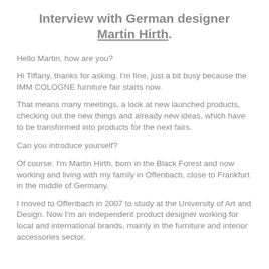Interview with German designer Martin Hirth.
Hello Martin, how are you?
Hi Tiffany, thanks for asking. I'm fine, just a bit busy because the IMM COLOGNE furniture fair starts now.
That means many meetings, a look at new launched products, checking out the new things and already new ideas, which have to be transformed into products for the next fairs.
Can you introduce yourself?
Of course. I'm Martin Hirth, born in the Black Forest and now working and living with my family in Offenbach, close to Frankfurt in the middle of Germany.
I moved to Offenbach in 2007 to study at the University of Art and Design. Now I'm an independent product designer working for local and international brands, mainly in the furniture and interior accessories sector.